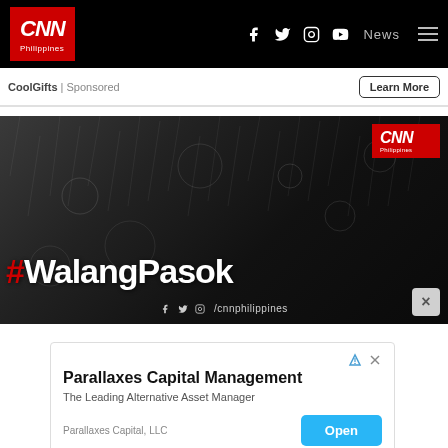CNN Philippines — navigation bar with social icons, News menu
CoolGifts | Sponsored — Learn More
[Figure (screenshot): CNN Philippines hero image with dark rainy background, #WalangPasok text in white with red hashtag symbol, CNN Philippines logo in top right corner, social media icons at bottom, close (X) button at bottom right]
[Figure (screenshot): Parallaxes Capital Management advertisement — title 'Parallaxes Capital Management', subtitle 'The Leading Alternative Asset Manager', company name 'Parallaxes Capital, LLC', blue 'Open' button]